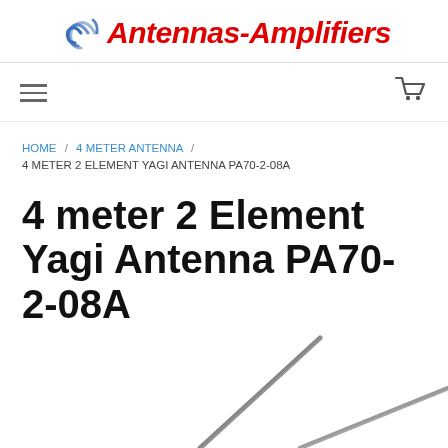Antennas-Amplifiers
HOME / 4 METER ANTENNA / 4 METER 2 ELEMENT YAGI ANTENNA PA70-2-08A
4 meter 2 Element Yagi Antenna PA70-2-08A
[Figure (photo): Partial photo of a Yagi antenna showing two metal elements against a white background, viewed from below at an angle]